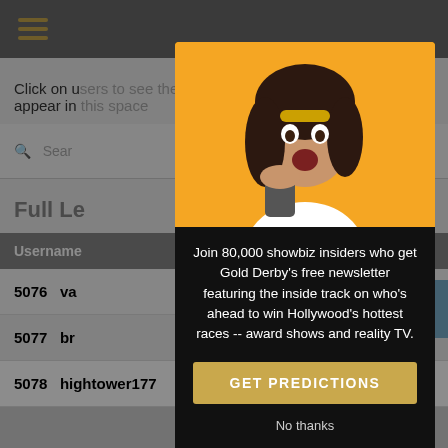[Figure (screenshot): Website background showing a leaderboard page with hamburger menu, search bar, and table rows with usernames and points. A modal popup overlays the page.]
Click on u... predictions appear in...
Search... EARCH
Full Le...
| Username | Pts Won |
| --- | --- |
| 5076 va... | 6529 |
| 5077 br... | 6521 |
| 5078 hightower177 | 12/24  50.00%  6515 |
[Figure (photo): Woman with surprised expression holding phone, on yellow background]
Join 80,000 showbiz insiders who get Gold Derby's free newsletter featuring the inside track on who's ahead to win Hollywood's hottest races -- award shows and reality TV.
GET PREDICTIONS
No thanks